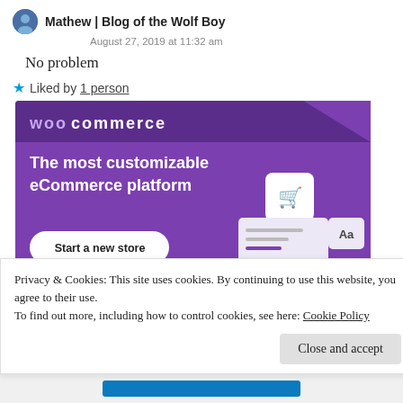Mathew | Blog of the Wolf Boy
August 27, 2019 at 11:32 am
No problem
★ Liked by 1 person
[Figure (screenshot): WooCommerce advertisement banner with purple background showing 'The most customizable eCommerce platform' with 'Start a new store' button and UI elements including shopping cart icon]
Privacy & Cookies: This site uses cookies. By continuing to use this website, you agree to their use.
To find out more, including how to control cookies, see here: Cookie Policy
Close and accept